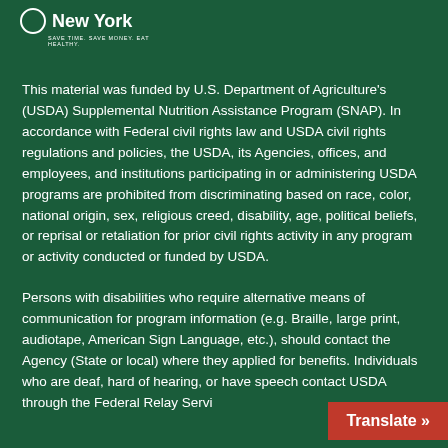[Figure (logo): New York state SNAP logo — circle icon with 'New York' text and tagline 'SAVE TIME. SAVE MONEY. EAT HEALTHY.']
This material was funded by U.S. Department of Agriculture's (USDA) Supplemental Nutrition Assistance Program (SNAP). In accordance with Federal civil rights law and USDA civil rights regulations and policies, the USDA, its Agencies, offices, and employees, and institutions participating in or administering USDA programs are prohibited from discriminating based on race, color, national origin, sex, religious creed, disability, age, political beliefs, or reprisal or retaliation for prior civil rights activity in any program or activity conducted or funded by USDA.
Persons with disabilities who require alternative means of communication for program information (e.g. Braille, large print, audiotape, American Sign Language, etc.), should contact the Agency (State or local) where they applied for benefits. Individuals who are deaf, hard of hearing, or have speech contact USDA through the Federal Relay Servi...
[Figure (other): Red 'Translate »' button overlay in bottom right corner]